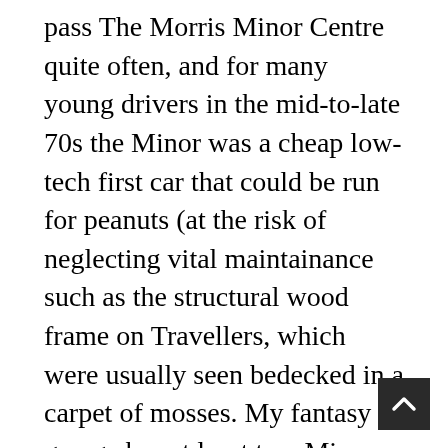pass The Morris Minor Centre quite often, and for many young drivers in the mid-to-late 70s the Minor was a cheap low-tech first car that could be run for peanuts (at the risk of neglecting vital maintainance such as the structural wood frame on Travellers, which were usually seen bedecked in a carpet of mosses. My fantasy garage has at least two Minors (a convertible and a Traveller, both subtly uprated)- these cars are massivly characterful compared to the run-of-the mill Vivas and Escorts of their day. I th the relatively high values that a good